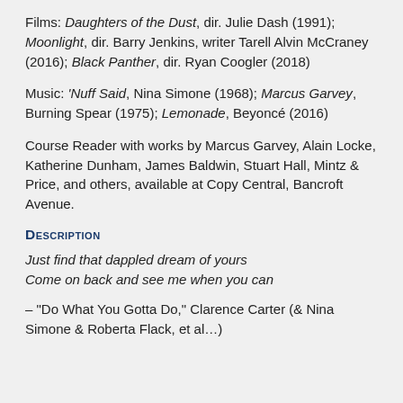Films: Daughters of the Dust, dir. Julie Dash (1991); Moonlight, dir. Barry Jenkins, writer Tarell Alvin McCraney (2016); Black Panther, dir. Ryan Coogler (2018)
Music: 'Nuff Said, Nina Simone (1968); Marcus Garvey, Burning Spear (1975); Lemonade, Beyoncé (2016)
Course Reader with works by Marcus Garvey, Alain Locke, Katherine Dunham, James Baldwin, Stuart Hall, Mintz & Price, and others, available at Copy Central, Bancroft Avenue.
Description
Just find that dappled dream of yours
Come on back and see me when you can
– "Do What You Gotta Do," Clarence Carter (& Nina Simone & Roberta Flack, et al…)